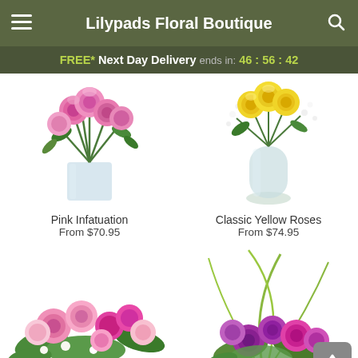Lilypads Floral Boutique
FREE* Next Day Delivery ends in: 46 : 56 : 42
[Figure (photo): Pink Infatuation flower arrangement - pink roses in a clear square vase]
[Figure (photo): Classic Yellow Roses flower arrangement - yellow roses with baby's breath in a clear vase]
Pink Infatuation
From $70.95
Classic Yellow Roses
From $74.95
[Figure (photo): Mixed pink floral arrangement with roses and carnations]
[Figure (photo): Purple and pink floral arrangement with curved grass accents]